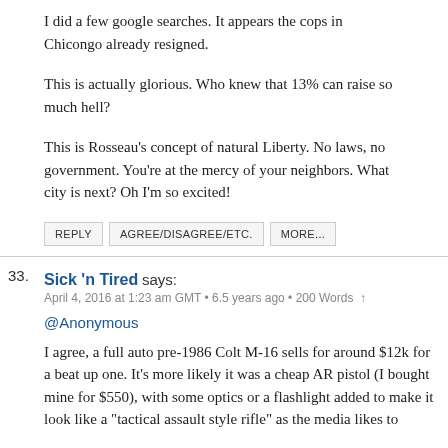I did a few google searches. It appears the cops in Chicongo already resigned.
This is actually glorious. Who knew that 13% can raise so much hell?
This is Rosseau's concept of natural Liberty. No laws, no government. You're at the mercy of your neighbors. What city is next? Oh I'm so excited!
REPLY | AGREE/DISAGREE/ETC. | MORE...
33. Sick 'n Tired says:
April 4, 2016 at 1:23 am GMT • 6.5 years ago • 200 Words ↑
@Anonymous
I agree, a full auto pre-1986 Colt M-16 sells for around $12k for a beat up one. It's more likely it was a cheap AR pistol (I bought mine for $550), with some optics or a flashlight added to make it look like a "tactical assault style rifle" as the media likes to